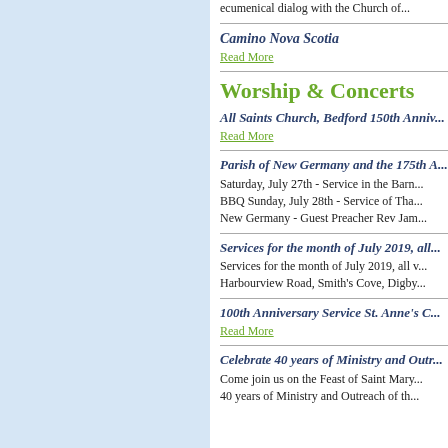ecumenical dialog with the Church of...
Camino Nova Scotia
Read More
Worship & Concerts
All Saints Church, Bedford 150th Anniv...
Read More
Parish of New Germany and the 175th A...
Saturday, July 27th - Service in the Barn... BBQ Sunday, July 28th - Service of Tha... New Germany - Guest Preacher Rev Jam...
Services for the month of July 2019, all...
Services for the month of July 2019, all v... Harbourview Road, Smith's Cove, Digby...
100th Anniversary Service St. Anne's C...
Read More
Celebrate 40 years of Ministry and Outr...
Come join us on the Feast of Saint Mary... 40 years of Ministry and Outreach of th...